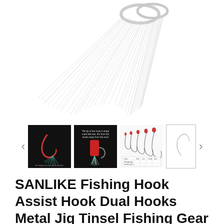[Figure (photo): Main product image showing a white tinsel/fiber fishing assist hook with metal ring on white background]
[Figure (photo): Thumbnail strip showing 4 product images: (1) dark background with red/teal assist hooks, (2) dark background with jig and hook detail, (3) size chart with multiple hook sizes, (4) partially visible white hook image]
SANLIKE Fishing Hook Assist Hook Dual Hooks Metal Jig Tinsel Fishing Gear Light Shogging Offshore Jigging